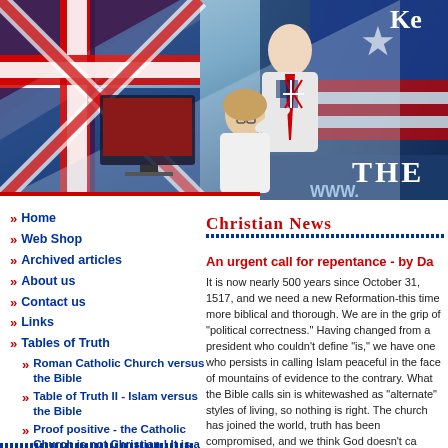[Figure (photo): Website header banner with UK and US flags background, two people (man and woman) at a computer, partial text 'Ke', 'THE', 'WWW.' visible]
Home
Web Shop
Archived articles
About us
Contact us
Links
Tables of Truth
Roman Catholic Church versus the Bible
Table of Truth II - Islam versus the Bible
Proof positive - the Catholic Church is not Christian ! It is a counterfeit. by Pat Franklin
Christian News
An urgent call for repentance - by Da
It is now nearly 500 years since October 31, 1517, and we need a new Reformation-this time more biblical and thorough. We are in the grip of "political correctness." Having changed from a president who couldn't define "is," we have one who persists in calling Islam peaceful in the face of mountains of evidence to the contrary. What the Bible calls sin is whitewashed as "alternate" styles of living, so nothing is right. The church has joined the world, truth has been compromised, and we think God doesn't ca